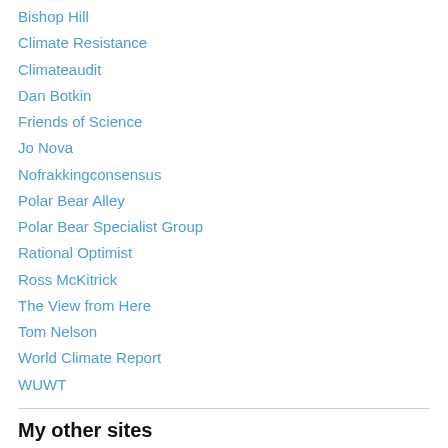Bishop Hill
Climate Resistance
Climateaudit
Dan Botkin
Friends of Science
Jo Nova
Nofrakkingconsensus
Polar Bear Alley
Polar Bear Specialist Group
Rational Optimist
Ross McKitrick
The View from Here
Tom Nelson
World Climate Report
WUWT
My other sites
My first novel